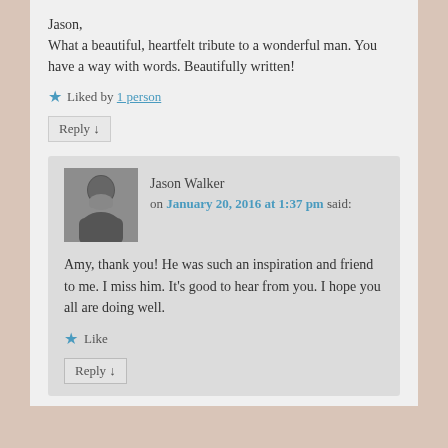Jason,
What a beautiful, heartfelt tribute to a wonderful man. You have a way with words. Beautifully written!
Liked by 1 person
Reply ↓
Jason Walker on January 20, 2016 at 1:37 pm said:
Amy, thank you! He was such an inspiration and friend to me. I miss him. It's good to hear from you. I hope you all are doing well.
Like
Reply ↓